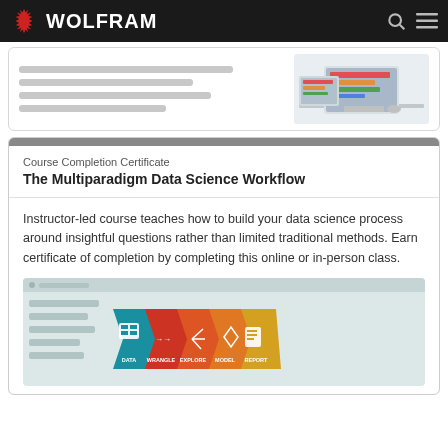WOLFRAM
[Figure (screenshot): Partially visible course card with screenshot of software on desktop computers]
Course Completion Certificate
The Multiparadigm Data Science Workflow
Instructor-led course teaches how to build your data science process around insightful questions rather than limited traditional methods. Earn certificate of completion by completing this online or in-person class.
[Figure (screenshot): Screenshot showing the Multiparadigm Data Science Workflow graphic with colorful arrow chevrons labeled DATA, WRANGLE, EXPLORE, MODEL, REPORT]